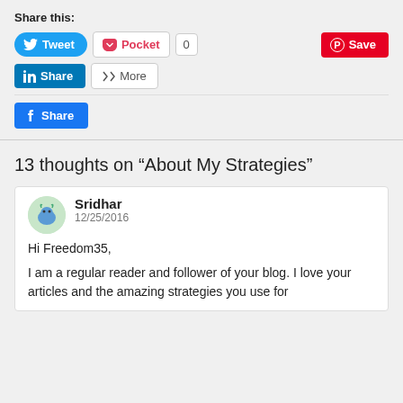Share this:
[Figure (screenshot): Social sharing buttons: Tweet (Twitter), Pocket, 0 count, Save (Pinterest), LinkedIn Share, More, Facebook Share]
13 thoughts on “About My Strategies”
Sridhar
12/25/2016
Hi Freedom35,

I am a regular reader and follower of your blog. I love your articles and the amazing strategies you use for